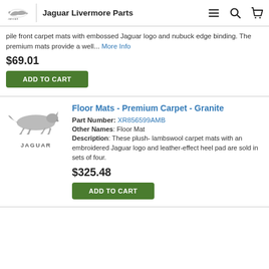Jaguar Livermore Parts
pile front carpet mats with embossed Jaguar logo and nubuck edge binding. The premium mats provide a well... More Info
$69.01
ADD TO CART
Floor Mats - Premium Carpet - Granite
Part Number: XR856599AMB
Other Names: Floor Mat
Description: These plush- lambswool carpet mats with an embroidered Jaguar logo and leather-effect heel pad are sold in sets of four.
$325.48
ADD TO CART